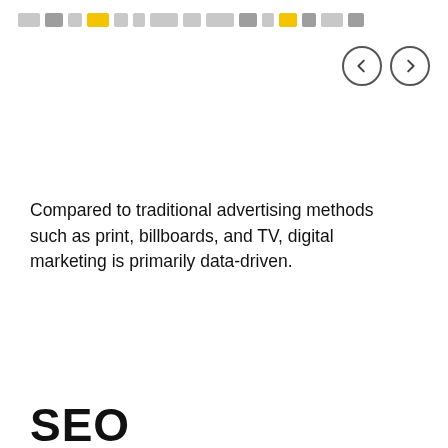navigation bar with colored blocks
[Figure (other): Navigation arrows: left and right circular buttons]
Compared to traditional advertising methods such as print, billboards, and TV, digital marketing is primarily data-driven.
SEO